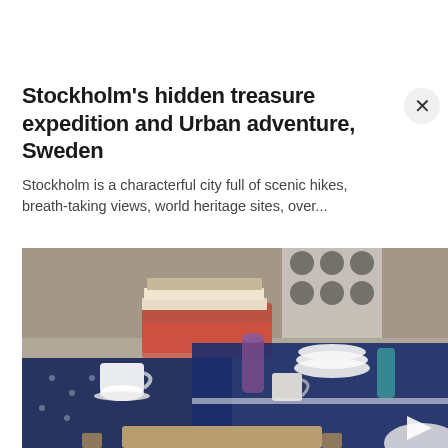Stockholm's hidden treasure expedition and Urban adventure, Sweden
Stockholm is a characterful city full of scenic hikes, breath-taking views, world heritage sites, over...
[Figure (photo): A shop or display area showing tables covered with dark navy blue patterned tablecloths, decorated with dishes, cups, vases, and various home goods items on display, resembling a Scandinavian home goods store or exhibition.]